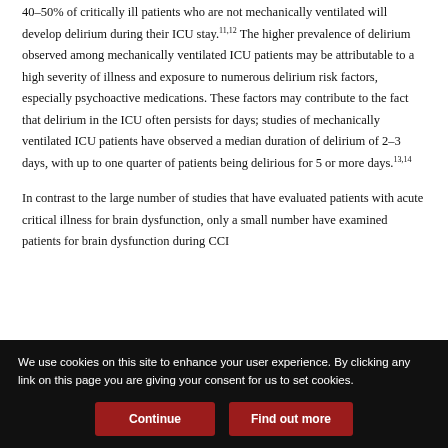40–50% of critically ill patients who are not mechanically ventilated will develop delirium during their ICU stay.11,12 The higher prevalence of delirium observed among mechanically ventilated ICU patients may be attributable to a high severity of illness and exposure to numerous delirium risk factors, especially psychoactive medications. These factors may contribute to the fact that delirium in the ICU often persists for days; studies of mechanically ventilated ICU patients have observed a median duration of delirium of 2–3 days, with up to one quarter of patients being delirious for 5 or more days.13,14
In contrast to the large number of studies that have evaluated patients with acute critical illness for brain dysfunction, only a small number have examined patients for brain dysfunction during CCI
We use cookies on this site to enhance your user experience. By clicking any link on this page you are giving your consent for us to set cookies.